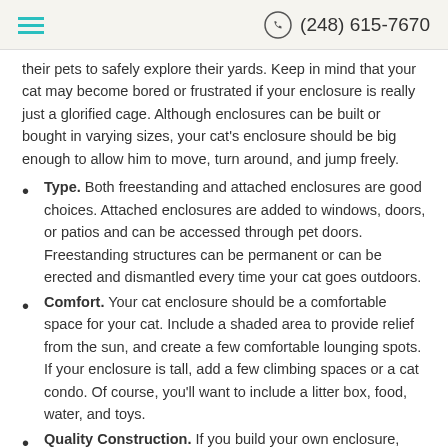(248) 615-7670
their pets to safely explore their yards. Keep in mind that your cat may become bored or frustrated if your enclosure is really just a glorified cage. Although enclosures can be built or bought in varying sizes, your cat's enclosure should be big enough to allow him to move, turn around, and jump freely.
Type. Both freestanding and attached enclosures are good choices. Attached enclosures are added to windows, doors, or patios and can be accessed through pet doors. Freestanding structures can be permanent or can be erected and dismantled every time your cat goes outdoors.
Comfort. Your cat enclosure should be a comfortable space for your cat. Include a shaded area to provide relief from the sun, and create a few comfortable lounging spots. If your enclosure is tall, add a few climbing spaces or a cat condo. Of course, you'll want to include a litter box, food, water, and toys.
Quality Construction. If you build your own enclosure, make sure it can handle the elements and plenty of pouncing, jumping, and running. Screens and barriers should be strong enough to keep your cats in and other animals out. If you buy an enclosure